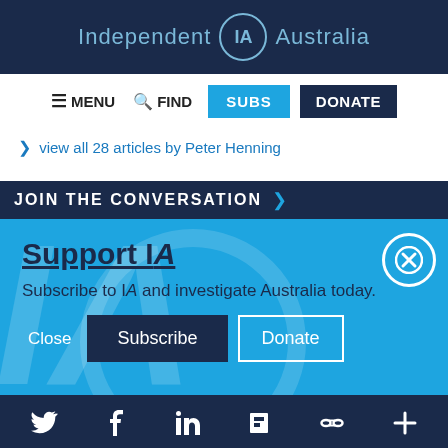Independent IA Australia
[Figure (screenshot): Navigation bar with MENU, FIND, SUBS, DONATE buttons]
> view all 28 articles by Peter Henning
JOIN THE CONVERSATION >
Support IA
Subscribe to IA and investigate Australia today.
Close  Subscribe  Donate
Social media icon bar: Twitter, Facebook, LinkedIn, Flipboard, link, plus